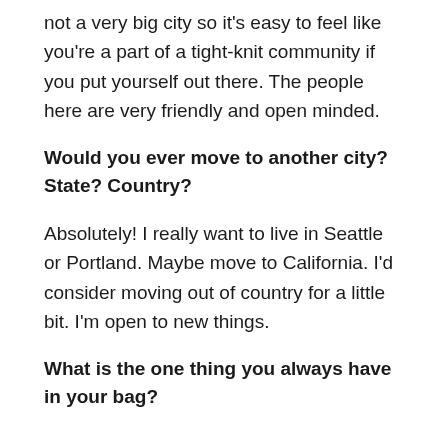not a very big city so it's easy to feel like you're a part of a tight-knit community if you put yourself out there. The people here are very friendly and open minded.
Would you ever move to another city? State? Country?
Absolutely! I really want to live in Seattle or Portland. Maybe move to California. I'd consider moving out of country for a little bit. I'm open to new things.
What is the one thing you always have in your bag?